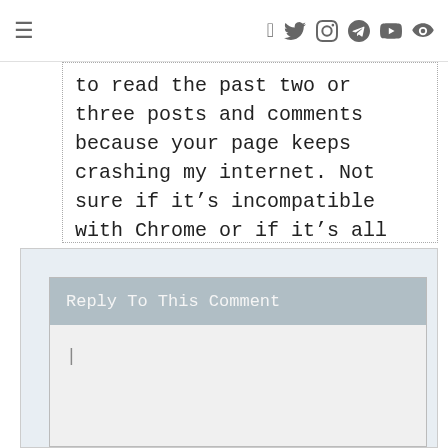≡  f  t  instagram  pinterest  youtube  search
to read the past two or three posts and comments because your page keeps crashing my internet. Not sure if it's incompatible with Chrome or if it's all the ads….Just FYI!
Reply To This Comment